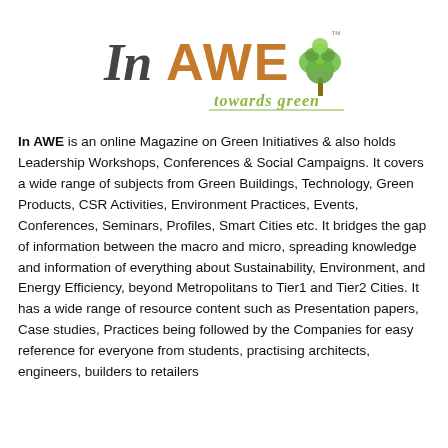[Figure (logo): In AWE towards green logo — stylized cursive 'In' in dark gray followed by bold uppercase 'AWE' in orange-brown, with a green tree illustration to the right and italic 'towards green' tagline below in orange-green cursive]
In AWE is an online Magazine on Green Initiatives & also holds Leadership Workshops, Conferences & Social Campaigns. It covers a wide range of subjects from Green Buildings, Technology, Green Products, CSR Activities, Environment Practices, Events, Conferences, Seminars, Profiles, Smart Cities etc. It bridges the gap of information between the macro and micro, spreading knowledge and information of everything about Sustainability, Environment, and Energy Efficiency, beyond Metropolitans to Tier1 and Tier2 Cities. It has a wide range of resource content such as Presentation papers, Case studies, Practices being followed by the Companies for easy reference for everyone from students, practising architects, engineers, builders to retailers